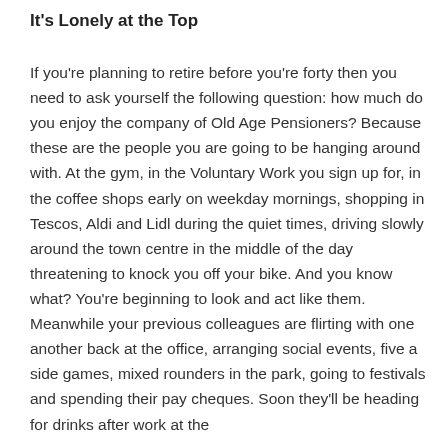It's Lonely at the Top
If you're planning to retire before you're forty then you need to ask yourself the following question: how much do you enjoy the company of Old Age Pensioners? Because these are the people you are going to be hanging around with. At the gym, in the Voluntary Work you sign up for, in the coffee shops early on weekday mornings, shopping in Tescos, Aldi and Lidl during the quiet times, driving slowly around the town centre in the middle of the day threatening to knock you off your bike. And you know what? You're beginning to look and act like them. Meanwhile your previous colleagues are flirting with one another back at the office, arranging social events, five a side games, mixed rounders in the park, going to festivals and spending their pay cheques. Soon they'll be heading for drinks after work at the